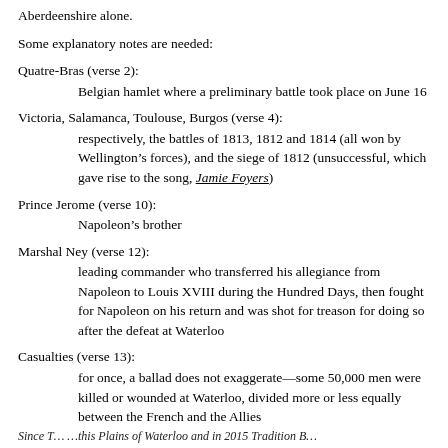Aberdeenshire alone.
Some explanatory notes are needed:
Quatre-Bras (verse 2): Belgian hamlet where a preliminary battle took place on June 16
Victoria, Salamanca, Toulouse, Burgos (verse 4): respectively, the battles of 1813, 1812 and 1814 (all won by Wellington’s forces), and the siege of 1812 (unsuccessful, which gave rise to the song, Jamie Foyers)
Prince Jerome (verse 10): Napoleon’s brother
Marshal Ney (verse 12): leading commander who transferred his allegiance from Napoleon to Louis XVIII during the Hundred Days, then fought for Napoleon on his return and was shot for treason for doing so after the defeat at Waterloo
Casualties (verse 13): for once, a ballad does not exaggerate—some 50,000 men were killed or wounded at Waterloo, divided more or less equally between the French and the Allies
Since T... ...this Plains of Waterloo and in 2015 Tradition B...